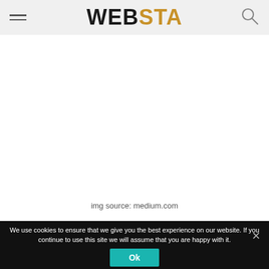WEBSTA
img source: medium.com
We use cookies to ensure that we give you the best experience on our website. If you continue to use this site we will assume that you are happy with it.